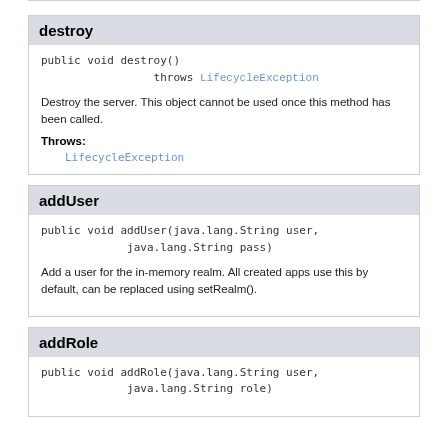destroy
public void destroy()
                throws LifecycleException
Destroy the server. This object cannot be used once this method has been called.
Throws:
LifecycleException
addUser
public void addUser(java.lang.String user,
            java.lang.String pass)
Add a user for the in-memory realm. All created apps use this by default, can be replaced using setRealm().
addRole
public void addRole(java.lang.String user,
            java.lang.String role)